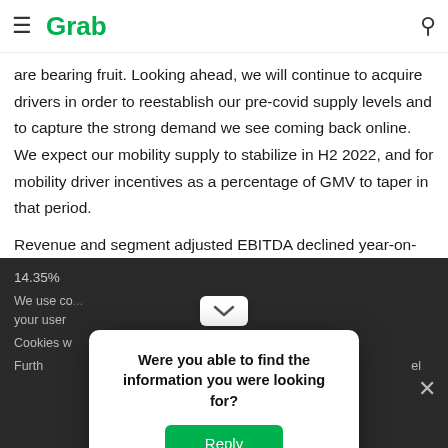Grab
are bearing fruit. Looking ahead, we will continue to acquire drivers in order to reestablish our pre-covid supply levels and to capture the strong demand we see coming back online. We expect our mobility supply to stabilize in H2 2022, and for mobility driver incentives as a percentage of GMV to taper in that period.
Revenue and segment adjusted EBITDA declined year-on-year as we spent to acquire drivers to capture demand coming back online. Segment Adjusted EBITDA margin for mobility declined to 9.8% of GMV in Q1 2022 compared to 14.35%...
Were you able to find the information you were looking for?
Reply
We use cookies to improve your user experience. Cookies w... Furth...